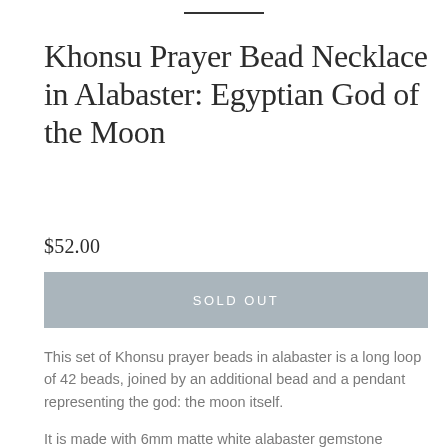Khonsu Prayer Bead Necklace in Alabaster: Egyptian God of the Moon
$52.00
SOLD OUT
This set of Khonsu prayer beads in alabaster is a long loop of 42 beads, joined by an additional bead and a pendant representing the god: the moon itself.
It is made with 6mm matte white alabaster gemstone beads, separated by silver-toned metal spacer beads and glass seed beads to provide a comfortable transition